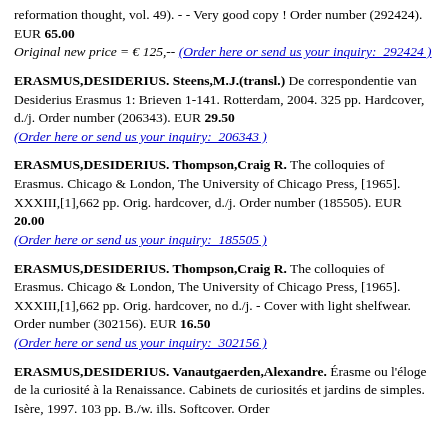reformation thought, vol. 49). - - Very good copy ! Order number (292424). EUR 65.00
Original new price = € 125,-- (Order here or send us your inquiry: 292424 )
ERASMUS,DESIDERIUS. Steens,M.J.(transl.) De correspondentie van Desiderius Erasmus 1: Brieven 1-141. Rotterdam, 2004. 325 pp. Hardcover, d./j. Order number (206343). EUR 29.50
(Order here or send us your inquiry: 206343 )
ERASMUS,DESIDERIUS. Thompson,Craig R. The colloquies of Erasmus. Chicago & London, The University of Chicago Press, [1965]. XXXIII,[1],662 pp. Orig. hardcover, d./j. Order number (185505). EUR 20.00
(Order here or send us your inquiry: 185505 )
ERASMUS,DESIDERIUS. Thompson,Craig R. The colloquies of Erasmus. Chicago & London, The University of Chicago Press, [1965]. XXXIII,[1],662 pp. Orig. hardcover, no d./j. - Cover with light shelfwear. Order number (302156). EUR 16.50
(Order here or send us your inquiry: 302156 )
ERASMUS,DESIDERIUS. Vanautgaerden,Alexandre. Érasme ou l'éloge de la curiosité à la Renaissance. Cabinets de curiosités et jardins de simples. Isère, 1997. 103 pp. B./w. ills. Softcover. Order